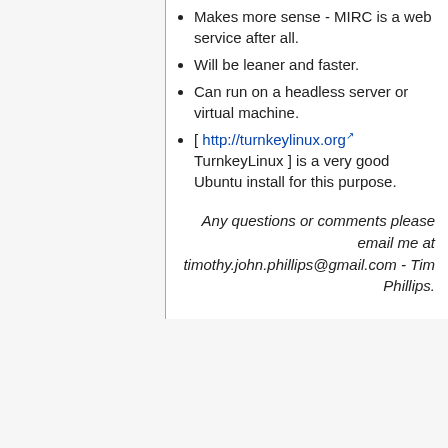Makes more sense - MIRC is a web service after all.
Will be leaner and faster.
Can run on a headless server or virtual machine.
[ http://turnkeylinux.org TurnkeyLinux ] is a very good Ubuntu install for this purpose.
Any questions or comments please email me at timothy.john.phillips@gmail.com - Tim Phillips.
This page was last edited on 10 September 2011, at 02:28.
Privacy policy   About MircWiki   Disclaimers